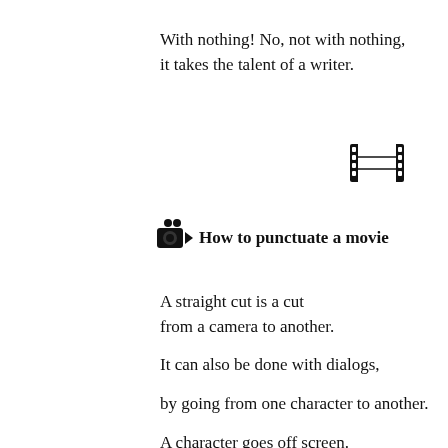With nothing! No, not with nothing,
it takes the talent of a writer.
[Figure (illustration): Film strip icon (filmstrip with sprocket holes)]
How to punctuate a movie
A straight cut is a cut
from a camera to another.
It can also be done with dialogs,
by going from one character to another.
A character goes off screen.
You can cut him when he is still halfway
in the screen and go to the next shot.
You can also let him clear the screen…